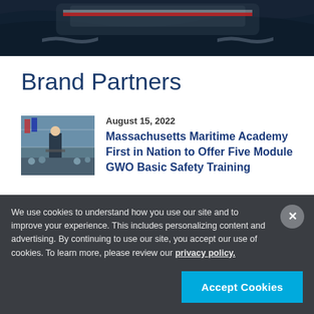[Figure (photo): Aerial view of a large ship on dark ocean waves, viewed from above showing the bow and wake]
Brand Partners
August 15, 2022
[Figure (photo): A man in a suit speaking at a podium at an outdoor event with a tent and flags visible]
Massachusetts Maritime Academy First in Nation to Offer Five Module GWO Basic Safety Training
We use cookies to understand how you use our site and to improve your experience. This includes personalizing content and advertising. By continuing to use our site, you accept our use of cookies. To learn more, please review our privacy policy.